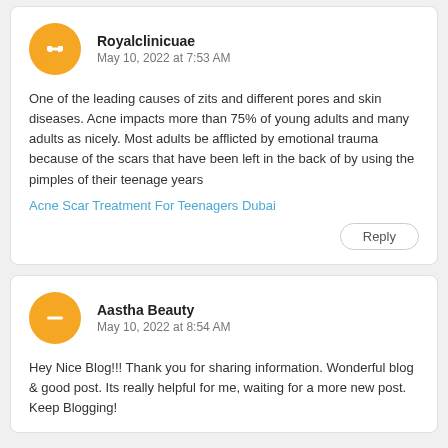Royalclinicuae
May 10, 2022 at 7:53 AM
One of the leading causes of zits and different pores and skin diseases. Acne impacts more than 75% of young adults and many adults as nicely. Most adults be afflicted by emotional trauma because of the scars that have been left in the back of by using the pimples of their teenage years
Acne Scar Treatment For Teenagers Dubai
Reply
Aastha Beauty
May 10, 2022 at 8:54 AM
Hey Nice Blog!!! Thank you for sharing information. Wonderful blog & good post. Its really helpful for me, waiting for a more new post. Keep Blogging!